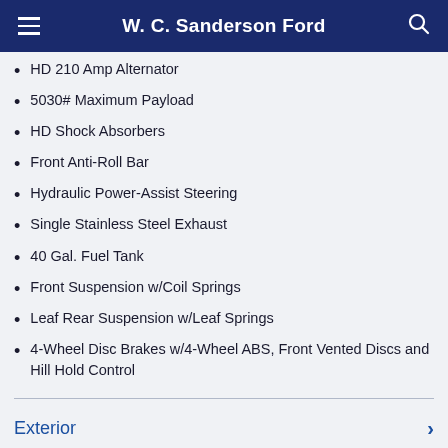W. C. Sanderson Ford
HD 210 Amp Alternator
5030# Maximum Payload
HD Shock Absorbers
Front Anti-Roll Bar
Hydraulic Power-Assist Steering
Single Stainless Steel Exhaust
40 Gal. Fuel Tank
Front Suspension w/Coil Springs
Leaf Rear Suspension w/Leaf Springs
4-Wheel Disc Brakes w/4-Wheel ABS, Front Vented Discs and Hill Hold Control
Exterior
Entertainment